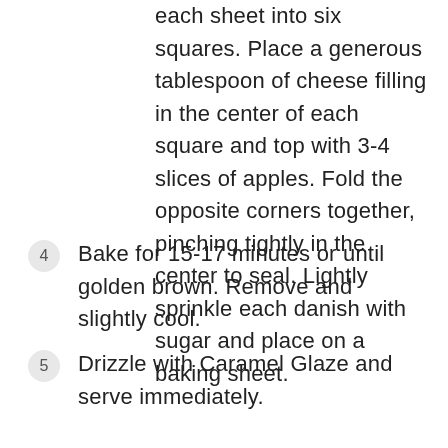each sheet into six squares. Place a generous tablespoon of cheese filling in the center of each square and top with 3-4 slices of apples. Fold the opposite corners together, pinching tightly in the center to seal. Lightly sprinkle each danish with sugar and place on a baking sheet.
4  Bake for 15-17 minutes or until golden brown. Remove and slightly cool.
5  Drizzle with Caramel Glaze and serve immediately.